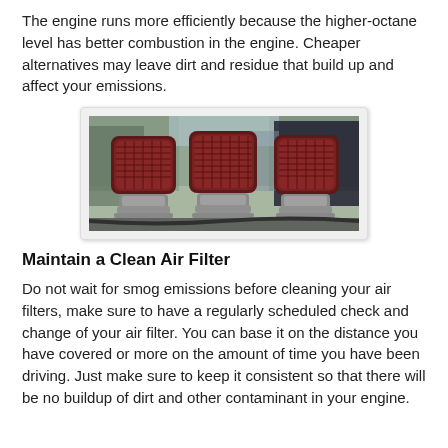The engine runs more efficiently because the higher-octane level has better combustion in the engine. Cheaper alternatives may leave dirt and residue that build up and affect your emissions.
[Figure (photo): Three red aftermarket air filters mounted on carburetors, photographed at an outdoor car show with blurred people in the background.]
Maintain a Clean Air Filter
Do not wait for smog emissions before cleaning your air filters, make sure to have a regularly scheduled check and change of your air filter. You can base it on the distance you have covered or more on the amount of time you have been driving. Just make sure to keep it consistent so that there will be no buildup of dirt and other contaminant in your engine.